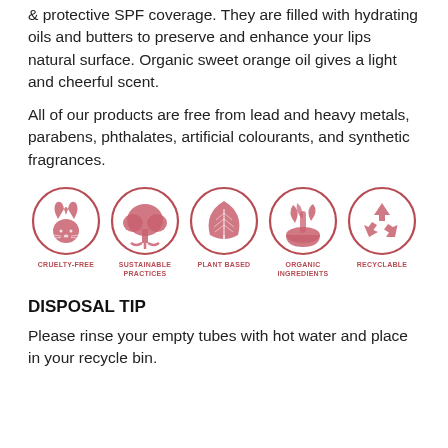& protective SPF coverage. They are filled with hydrating oils and butters to preserve and enhance your lips natural surface. Organic sweet orange oil gives a light and cheerful scent.
All of our products are free from lead and heavy metals, parabens, phthalates, artificial colourants, and synthetic fragrances.
[Figure (infographic): Five circular icons in red/rose color: Cruelty-Free (rabbit with heart ears), Sustainable Practices (tree), Plant Based (leaf), Organic Ingredients (mortar and pestle with plants), Recyclable (recycling symbol)]
DISPOSAL TIP
Please rinse your empty tubes with hot water and place in your recycle bin.